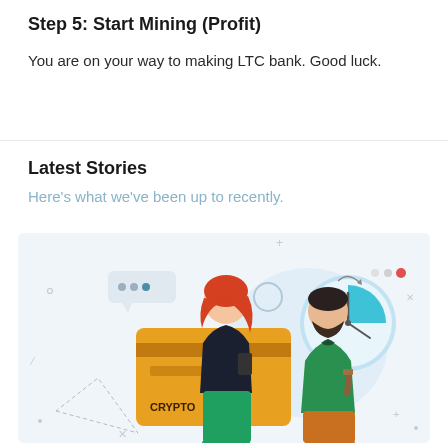Step 5: Start Mining (Profit)
You are on your way to making LTC bank. Good luck.
Latest Stories
Here’s what we’ve been up to recently.
[Figure (illustration): Illustration of two people discussing cryptocurrency. A woman with red hair in a black top holds a phone in front of a large orange credit card labeled CRYPTO. A bearded man in a green sweater and orange pants stands beside her with a clock/timer graphic in the background. A speech bubble with dots appears above.]